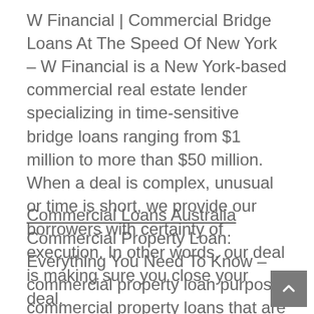W Financial | Commercial Bridge Loans At The Speed Of New York – W Financial is a New York-based commercial real estate lender specializing in time-sensitive bridge loans ranging from $1 million to more than $50 million. When a deal is complex, unusual or time is short, we provide our borrowers with certainty of execution. In other words, our deal is making sure you close your deal.
Commercial Loans Australia Commercial Property Loan: Everything You Need To Know – commercial property loan purpose. commercial property loans that are used for business or investment purposes, An engineering consultancy commercial loan can help you. Factory Loan. Australia may no longer be an industrial hub but there are still commercial investment opportunities in buying.